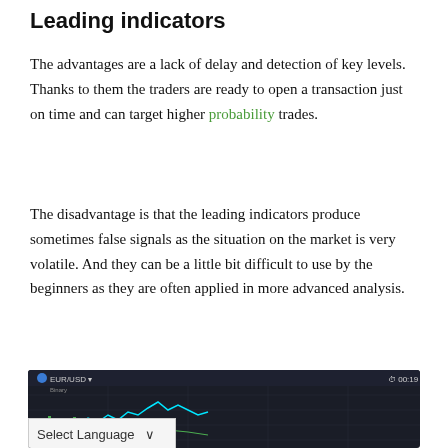Leading indicators
The advantages are a lack of delay and detection of key levels. Thanks to them the traders are ready to open a transaction just on time and can target higher probability trades.
The disadvantage is that the leading indicators produce sometimes false signals as the situation on the market is very volatile. And they can be a little bit difficult to use by the beginners as they are often applied in more advanced analysis.
[Figure (screenshot): A trading chart screenshot showing EUR/USD binary options chart with a dark background, candlestick/line chart data, overlaid with social media sharing buttons (Facebook, Twitter, LinkedIn, Pinterest) and a Select Language dropdown.]